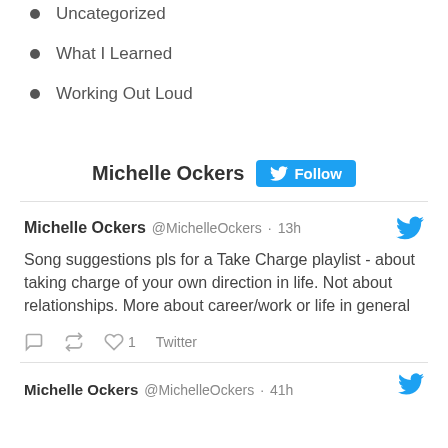Uncategorized
What I Learned
Working Out Loud
Michelle Ockers  Follow
Michelle Ockers @MichelleOckers · 13h
Song suggestions pls for a Take Charge playlist - about taking charge of your own direction in life. Not about relationships. More about career/work or life in general
1  Twitter
Michelle Ockers @MichelleOckers · 41h